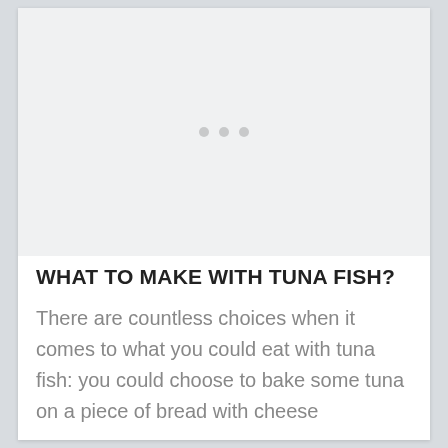[Figure (other): Light gray placeholder image area with three small gray dots centered, indicating a loading or placeholder state]
WHAT TO MAKE WITH TUNA FISH?
There are countless choices when it comes to what you could eat with tuna fish: you could choose to bake some tuna on a piece of bread with cheese